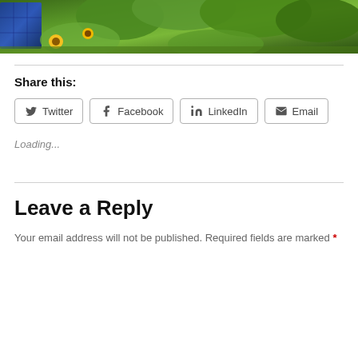[Figure (photo): Photo of sunflowers and large green leaves with a blue solar panel visible on the left side, bright sunny outdoor scene]
Share this:
Twitter Facebook LinkedIn Email
Loading...
Leave a Reply
Your email address will not be published. Required fields are marked *